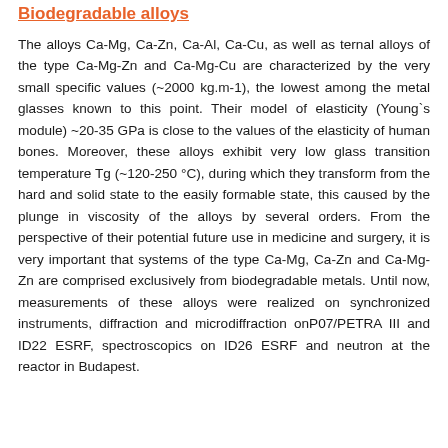Biodegradable alloys
The alloys Ca-Mg, Ca-Zn, Ca-Al, Ca-Cu, as well as ternal alloys of the type Ca-Mg-Zn and Ca-Mg-Cu are characterized by the very small specific values (~2000 kg.m-1), the lowest among the metal glasses known to this point. Their model of elasticity (Young`s module) ~20-35 GPa is close to the values of the elasticity of human bones. Moreover, these alloys exhibit very low glass transition temperature Tg (~120-250 °C), during which they transform from the hard and solid state to the easily formable state, this caused by the plunge in viscosity of the alloys by several orders. From the perspective of their potential future use in medicine and surgery, it is very important that systems of the type Ca-Mg, Ca-Zn and Ca-Mg-Zn are comprised exclusively from biodegradable metals. Until now, measurements of these alloys were realized on synchronized instruments, diffraction and microdiffraction onP07/PETRA III and ID22 ESRF, spectroscopics on ID26 ESRF and neutron at the reactor in Budapest.